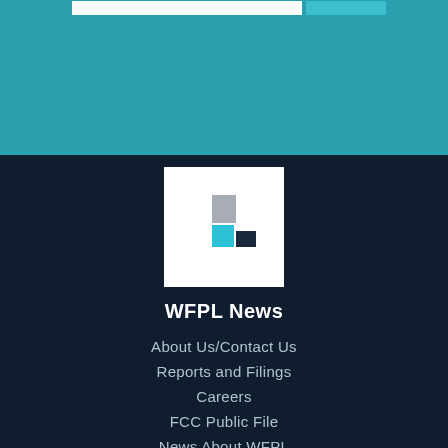[Figure (logo): WFPL News logo: white square with grey, cyan, and dark navy geometric blocks forming an L-shape]
WFPL News
About Us/Contact Us
Reports and Filings
Careers
FCC Public File
News About WFPL
Events